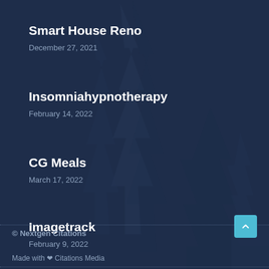Smart House Reno
December 27, 2021
Insomniahypnotherapy
February 14, 2022
CG Meals
March 17, 2022
Imagetrack
February 9, 2022
© Nextgen Citations
Made with ❤ Citations Media